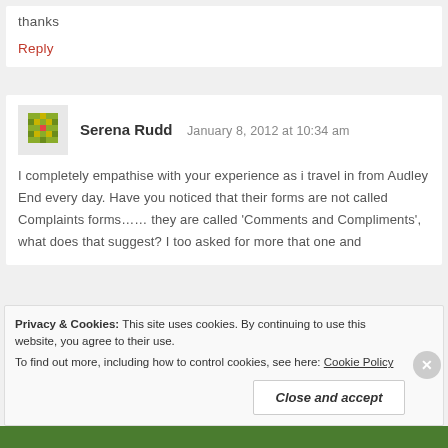thanks
Reply
Serena Rudd   January 8, 2012 at 10:34 am
I completely empathise with your experience as i travel in from Audley End every day. Have you noticed that their forms are not called Complaints forms…… they are called 'Comments and Compliments', what does that suggest? I too asked for more that one and
Privacy & Cookies: This site uses cookies. By continuing to use this website, you agree to their use. To find out more, including how to control cookies, see here: Cookie Policy
Close and accept